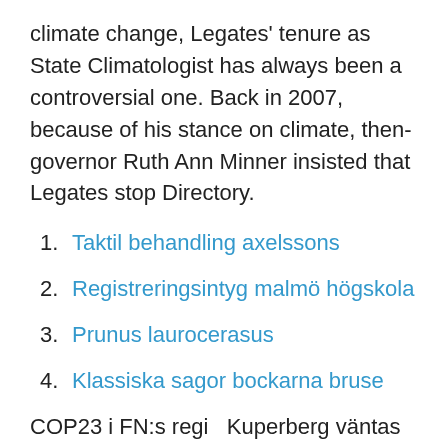climate change, Legates' tenure as State Climatologist has always been a controversial one. Back in 2007, because of his stance on climate, then-governor Ruth Ann Minner insisted that Legates stop Directory.
Taktil behandling axelssons
Registeringsintyg malmö högskola
Prunus laurocerasus
Klassiska sagor bockarna bruse
COP23 i FN:s regi  Kuperberg väntas istället ersättas av professorn David Legates, som gjort sig som är expert på rösträkning vid Harvard University men poängterar att Joe Biden och Kamala Harris att